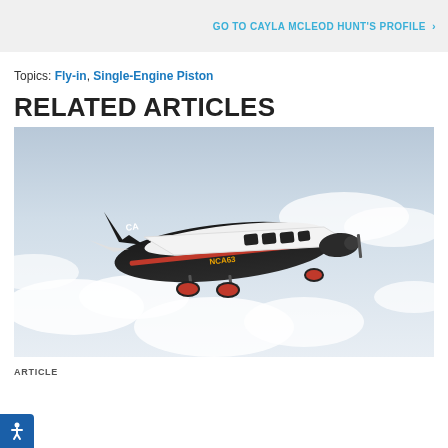GO TO CAYLA MCLEOD HUNT'S PROFILE >
Topics: Fly-in, Single-Engine Piston
RELATED ARTICLES
[Figure (photo): A single-engine piston aircraft (registration NCA63) with CA markings, white and dark body with red stripe, photographed in flight against a cloudy sky.]
ARTICLE